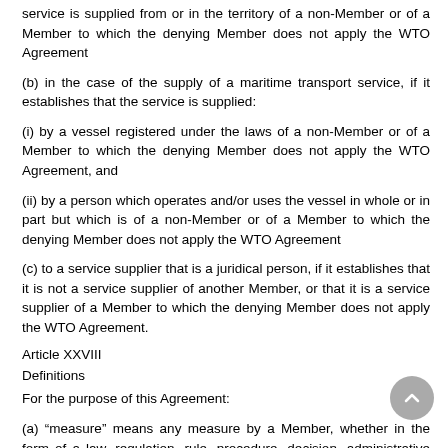service is supplied from or in the territory of a non-Member or of a Member to which the denying Member does not apply the WTO Agreement
(b) in the case of the supply of a maritime transport service, if it establishes that the service is supplied:
(i) by a vessel registered under the laws of a non-Member or of a Member to which the denying Member does not apply the WTO Agreement, and
(ii) by a person which operates and/or uses the vessel in whole or in part but which is of a non-Member or of a Member to which the denying Member does not apply the WTO Agreement
(c) to a service supplier that is a juridical person, if it establishes that it is not a service supplier of another Member, or that it is a service supplier of a Member to which the denying Member does not apply the WTO Agreement.
Article XXVIII
Definitions
For the purpose of this Agreement:
(a) “measure” means any measure by a Member, whether in the form of a law, regulation, rule, procedure, decision, administrative action, or any other